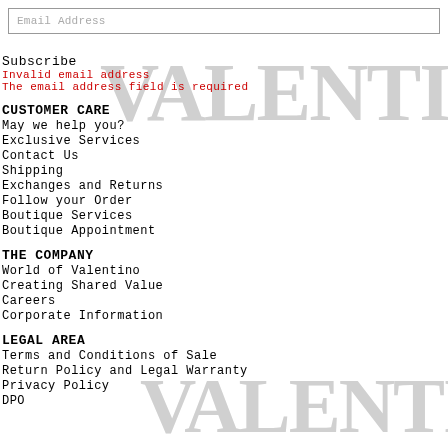Email Address
Subscribe
Invalid email address
The email address field is required
CUSTOMER CARE
May we help you?
Exclusive Services
Contact Us
Shipping
Exchanges and Returns
Follow your Order
Boutique Services
Boutique Appointment
THE COMPANY
World of Valentino
Creating Shared Value
Careers
Corporate Information
LEGAL AREA
Terms and Conditions of Sale
Return Policy and Legal Warranty
Privacy Policy
DPO
[Figure (logo): VALENTINO large watermark text in grey, appearing twice as background decoration]